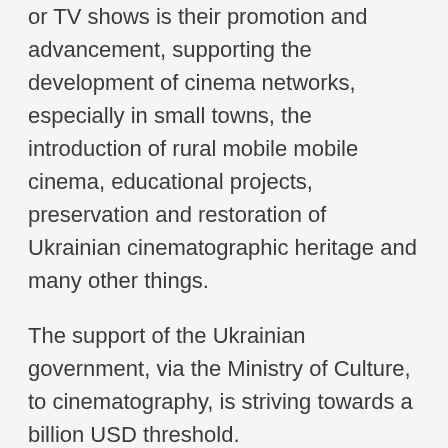or TV shows is their promotion and advancement, supporting the development of cinema networks, especially in small towns, the introduction of rural mobile mobile cinema, educational projects, preservation and restoration of Ukrainian cinematographic heritage and many other things.
The support of the Ukrainian government, via the Ministry of Culture, to cinematography, is striving towards a billion USD threshold.
The steady increase in the budget allocated by the state to fund Ukrainian cinema is directly connected to the development of video and filmmaking industry in Ukraine.